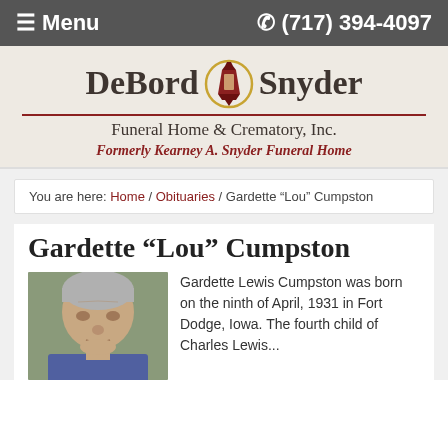≡ Menu   ✆ (717) 394-4097
[Figure (logo): DeBord Snyder Funeral Home & Crematory, Inc. logo with lantern icon. Formerly Kearney A. Snyder Funeral Home]
You are here: Home / Obituaries / Gardette "Lou" Cumpston
Gardette "Lou" Cumpston
[Figure (photo): Photo of Gardette Lou Cumpston, an elderly man with gray hair]
Gardette Lewis Cumpston was born on the ninth of April, 1931 in Fort Dodge, Iowa. The fourth child of Charles Lewis...